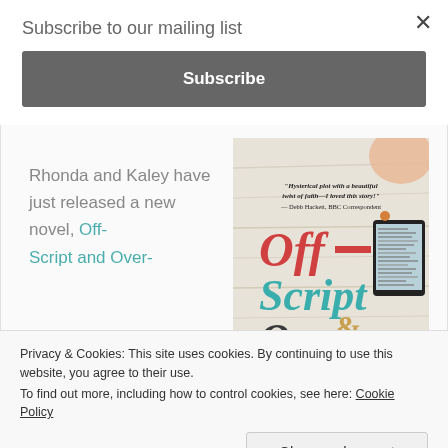Subscribe to our mailing list
Subscribe
Rhonda and Kaley have just released a new novel, Off-Script and Over-
[Figure (illustration): Book cover for 'Off-Script and Over-' with quote: 'Hysterical plot with a beautiful twist of faith—I loved this story!' — Debb Hackett, BBC Correspondent. Features colorful text in red and teal on a light wood background with a tablet device.]
Privacy & Cookies: This site uses cookies. By continuing to use this website, you agree to their use.
To find out more, including how to control cookies, see here: Cookie Policy
Close and accept